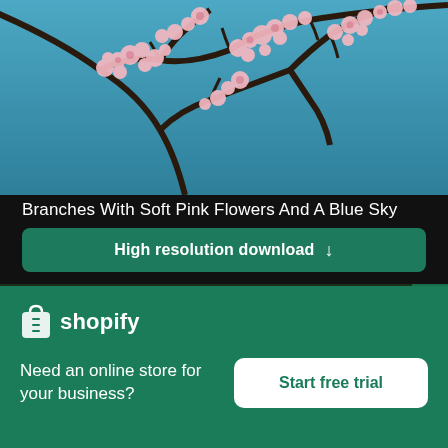[Figure (photo): Cherry blossom branches with soft pink flowers against a blue sky]
Branches With Soft Pink Flowers And A Blue Sky
High resolution download ↓
[Figure (photo): Close-up of green leaves with water droplets]
Need an online store for your business?
Start free trial